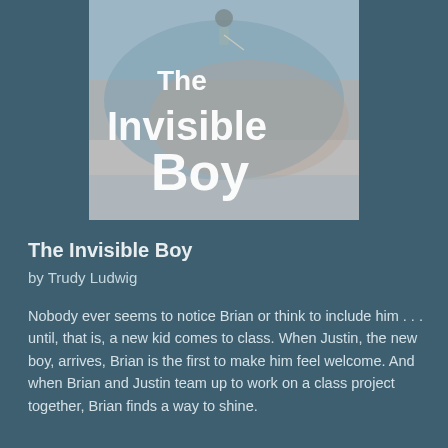[Figure (illustration): Book cover of 'The Invisible Boy' by Trudy Ludwig. Shows a watercolor-style illustration with a child figure at the top and large white text reading 'The Invisible Boy' over a muted blue and peach background.]
The Invisible Boy
by Trudy Ludwig
Nobody ever seems to notice Brian or think to include him . . . until, that is, a new kid comes to class. When Justin, the new boy, arrives, Brian is the first to make him feel welcome. And when Brian and Justin team up to work on a class project together, Brian finds a way to shine.